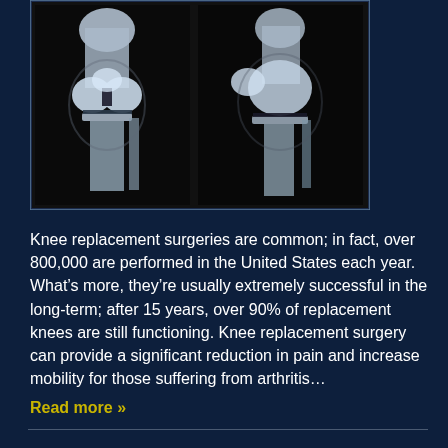[Figure (photo): X-ray images of knee joints showing two views side by side — frontal and lateral perspectives of the knee, displayed on a dark background with a thin border]
Knee replacement surgeries are common; in fact, over 800,000 are performed in the United States each year. What's more, they're usually extremely successful in the long-term; after 15 years, over 90% of replacement knees are still functioning. Knee replacement surgery can provide a significant reduction in pain and increase mobility for those suffering from arthritis… Read more »